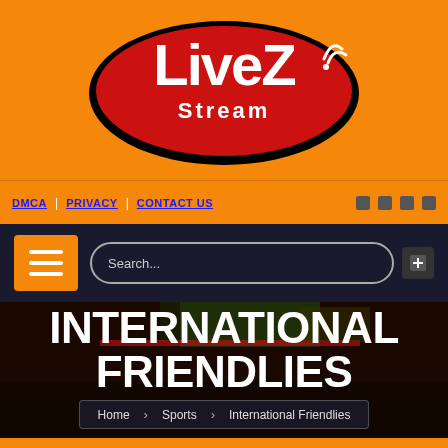[Figure (logo): LiveZStream logo — red oval with white bold text 'LiveZ' and 'Stream' below, wifi/signal icon top-right, black outline, on orange background]
DMCA | PRIVACY | CONTACT US
[Figure (screenshot): Dark navigation bar with orange hamburger menu button and rounded search box showing 'Search...']
INTERNATIONAL FRIENDLIES
Home  Sports  International Friendlies